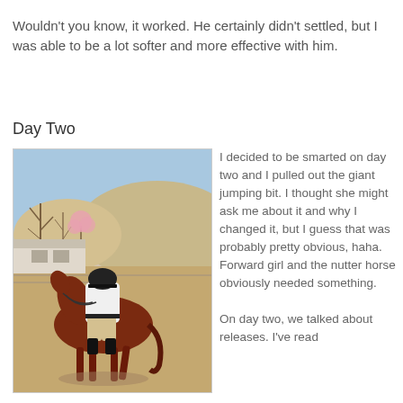Wouldn't you know, it worked. He certainly didn't settled, but I was able to be a lot softer and more effective with him.
Day Two
[Figure (photo): A rider on a chestnut horse in an outdoor arena, viewed from behind-right. The rider wears a white shirt, tan breeches, and a black helmet. Background shows trees, a hillside, and stable buildings.]
I decided to be smarted on day two and I pulled out the giant jumping bit. I thought she might ask me about it and why I changed it, but I guess that was probably pretty obvious, haha. Forward girl and the nutter horse obviously needed something.
On day two, we talked about releases. I've read